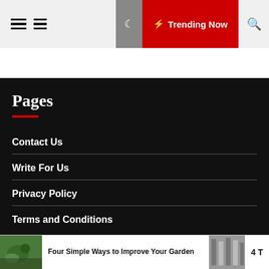Menu | Trending Now | Search
Pages
Contact Us
Write For Us
Privacy Policy
Terms and Conditions
Follow US
Four Simple Ways to Improve Your Garden
4 T